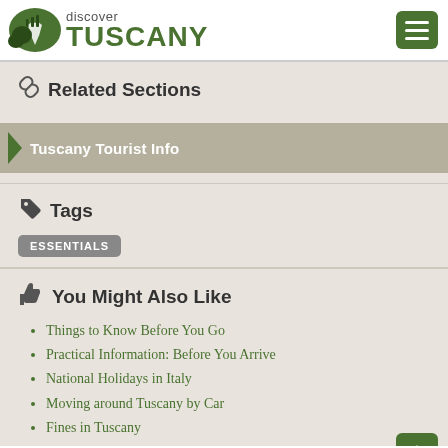discover TUSCANY
Related Sections
Tuscany Tourist Info
Tags
ESSENTIALS
You Might Also Like
Things to Know Before You Go
Practical Information: Before You Arrive
National Holidays in Italy
Moving around Tuscany by Car
Fines in Tuscany
Getting to Tuscany by Air